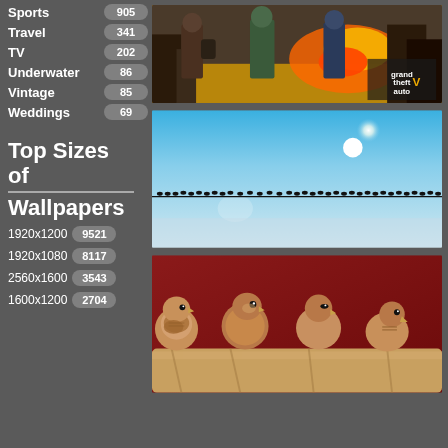Sports 905
Travel 341
TV 202
Underwater 86
Vintage 85
Weddings 69
Top Sizes of Wallpapers
1920x1200 9521
1920x1080 8117
2560x1600 3543
1600x1200 2704
[Figure (photo): Grand Theft Auto V promotional art showing three characters]
[Figure (photo): Birds sitting on a wire against a blue sky with sun]
[Figure (photo): Four small brown sparrows perched on a wooden surface against red background]